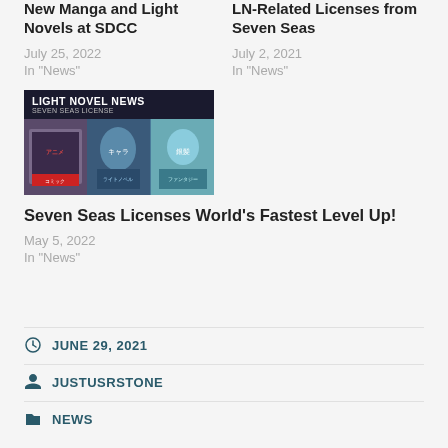New Manga and Light Novels at SDCC
July 25, 2022
In "News"
LN-Related Licenses from Seven Seas
July 2, 2021
In "News"
[Figure (photo): Light Novel News banner with three light novel cover images]
Seven Seas Licenses World's Fastest Level Up!
May 5, 2022
In "News"
JUNE 29, 2021
JUSTUSRSTONE
NEWS